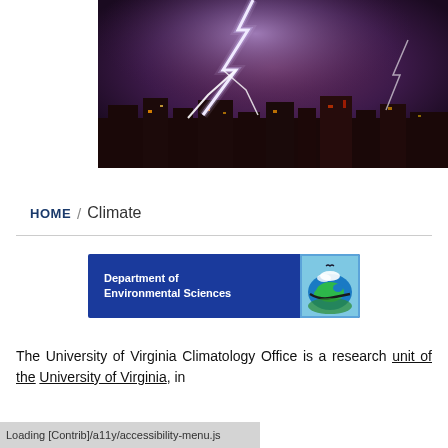[Figure (photo): Lightning strike over a city skyline at night with purple sky and multiple lightning bolts]
HOME / Climate
[Figure (logo): Department of Environmental Sciences banner with globe/earth icon on blue background]
The University of Virginia Climatology Office is a research [unit of the] University of Virginia, in
Loading [Contrib]/a11y/accessibility-menu.js